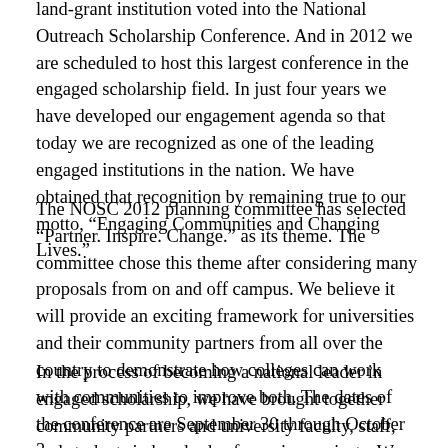land-grant institution voted into the National Outreach Scholarship Conference. And in 2012 we are scheduled to host this largest conference in the engaged scholarship field. In just four years we have developed our engagement agenda so that today we are recognized as one of the leading engaged institutions in the nation. We have obtained that recognition by remaining true to our motto, “Engaging Communities and Changing Lives.”
The NOSC 2012 planning committee has selected “Partner. Inspire. Change.” as its theme. The committee chose this theme after considering many proposals from on and off campus. We believe it will provide an exciting framework for universities and their community partners from all over the country to demonstrate how colleges can work with communities to improve both. The dates of the conference are September 30 through October 3.
In the process of becoming a national leader in engaged scholarship, we have brought together community partners and university faculty, staff, and students in hundreds of ongoing projects. We have also launched what many